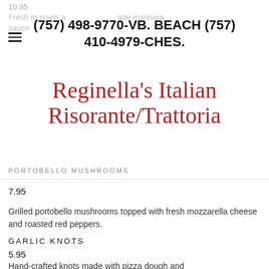10.95
Fresh mussels a... ade marinara sauce
(757) 498-9770-VB. BEACH (757) 410-4979-CHES.
Reginella's Italian Risorante/Trattoria
PORTOBELLO MUSHROOMS
7.95
Grilled portobello mushrooms topped with fresh mozzarella cheese and roasted red peppers.
GARLIC KNOTS
5.95
Hand-crafted knots made with pizza dough and